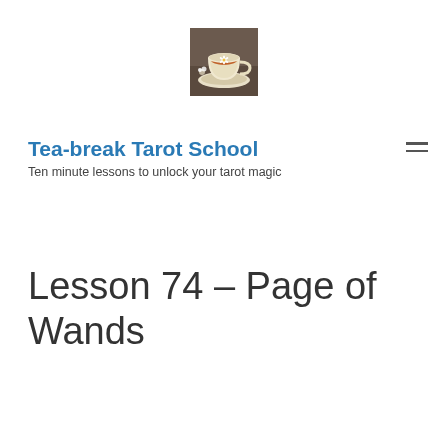[Figure (photo): Photo of a teacup with a daisy floating in tea, on a floral saucer, used as site logo]
Tea-break Tarot School
Ten minute lessons to unlock your tarot magic
Lesson 74 – Page of Wands